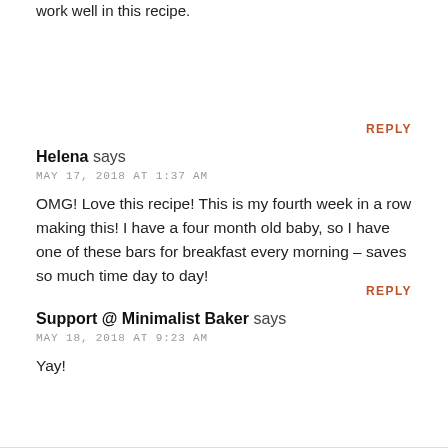work well in this recipe.
REPLY
Helena says
MAY 17, 2018 AT 1:37 AM
OMG! Love this recipe! This is my fourth week in a row making this! I have a four month old baby, so I have one of these bars for breakfast every morning – saves so much time day to day!
REPLY
Support @ Minimalist Baker says
MAY 18, 2018 AT 9:23 AM
Yay!